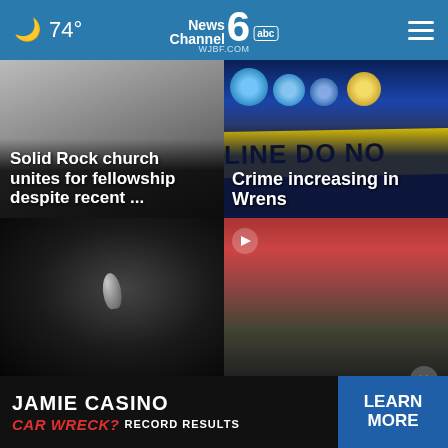74° | News Channel 6 abc | WJBF.COM
[Figure (photo): Story card: Solid Rock church image with overlay text 'Solid Rock church unites for fellowship despite recent ...']
[Figure (photo): Story card: Crime scene police lights and yellow crime tape reading 'LINE DO NO' with overlay text 'Crime increasing in Wrens']
[Figure (photo): Story card: Dark image showing a bullet/shell casing]
[Figure (photo): Story card: Crowd at sporting event with play button icon overlay]
JAMIE CASINO CAR WRECK? RECORD RESULTS LEARN MORE